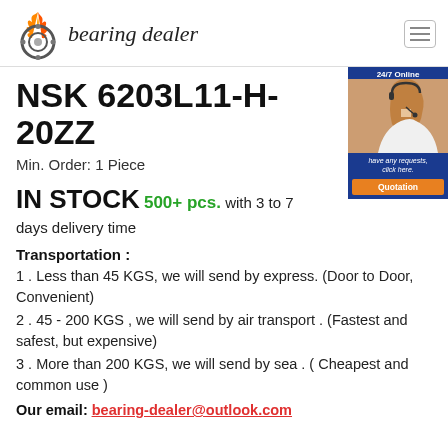bearing dealer
NSK 6203L11-H-20ZZ
Min. Order: 1 Piece
IN STOCK 500+ pcs. with 3 to 7 days delivery time
[Figure (photo): 24/7 Online customer support banner with woman wearing headset, Quotation button]
Transportation :
1 . Less than 45 KGS, we will send by express. (Door to Door, Convenient)
2 . 45 - 200 KGS , we will send by air transport . (Fastest and safest, but expensive)
3 . More than 200 KGS, we will send by sea . ( Cheapest and common use )
Our email: bearing-dealer@outlook.com